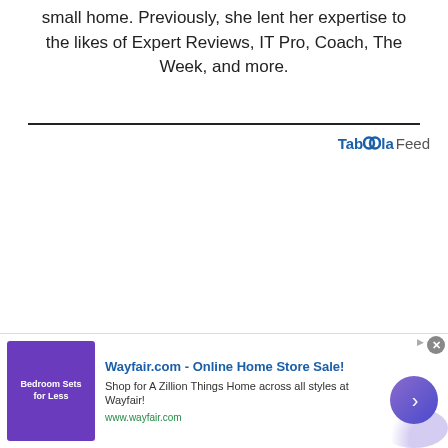small home. Previously, she lent her expertise to the likes of Expert Reviews, IT Pro, Coach, The Week, and more.
Taboola Feed
[Figure (other): Advertisement banner for Wayfair.com - Online Home Store Sale! with purple bedroom sets image and arrow button]